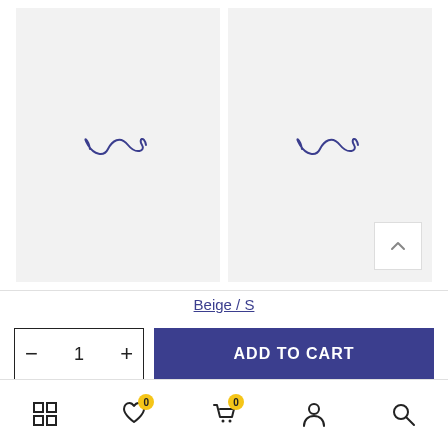[Figure (photo): Two product image panels side by side with a loading/brand logo (infinity-like swirl) centered in each gray panel. A scroll-up button appears in the bottom-right of the right panel.]
Beige / S
- 1 +
ADD TO CART
[Figure (other): Bottom navigation bar with icons: grid/menu, heart with badge 0, shopping cart with badge 0, person/account, and search.]